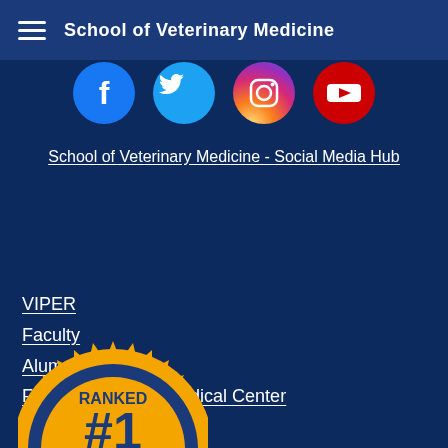School of Veterinary Medicine
[Figure (illustration): Four social media icon circles: Facebook (dark blue), Twitter (light blue), Instagram (orange/red gradient), YouTube (red)]
School of Veterinary Medicine - Social Media Hub
VIPER
Faculty
Alumni
Future Veterinary Medical Center
Campus Directory
[Figure (illustration): Ranked #1 badge/seal in gold and blue, partially visible at bottom of page]